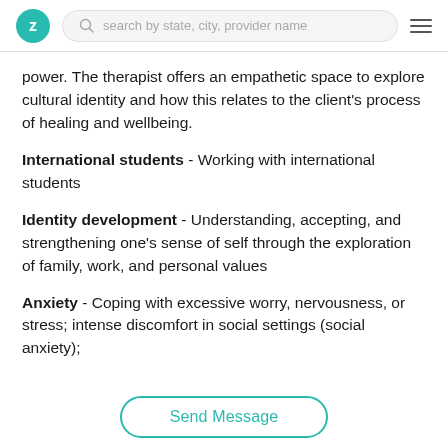Z | search by state, city, provider name | menu
power. The therapist offers an empathetic space to explore cultural identity and how this relates to the client's process of healing and wellbeing.
International students - Working with international students
Identity development - Understanding, accepting, and strengthening one's sense of self through the exploration of family, work, and personal values
Anxiety - Coping with excessive worry, nervousness, or stress; intense discomfort in social settings (social anxiety);